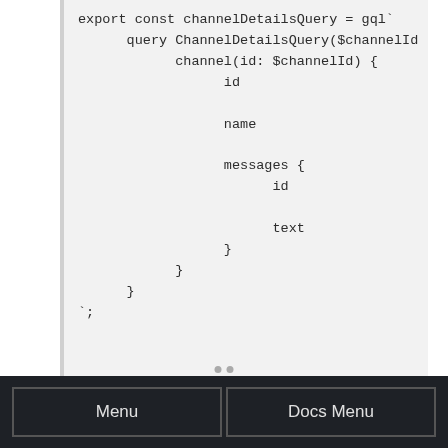export const channelDetailsQuery = gql`
      query ChannelDetailsQuery($channelId :
            channel(id: $channelId) {
                  id

                  name

                  messages {
                        id

                        text
                  }
            }
      }
`;
Menu    Docs Menu